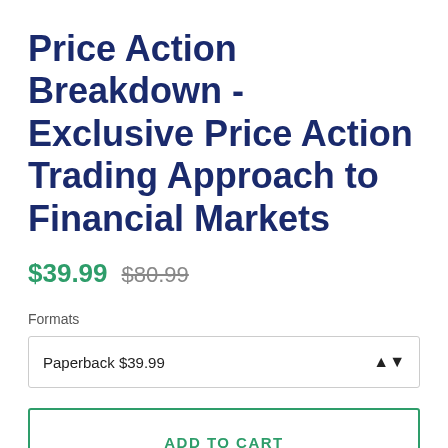Price Action Breakdown - Exclusive Price Action Trading Approach to Financial Markets
$39.99  $80.99
Formats
Paperback $39.99
ADD TO CART